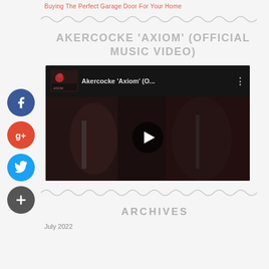Buying The Perfect Garage Door For Your Home
AKERCOCKE 'AXIOM' (OFFICIAL MUSIC VIDEO)
[Figure (screenshot): YouTube embedded video player showing Akercocke 'Axiom' (O... music video thumbnail with play button, dark horror-themed imagery]
ARCHIVES
July 2022